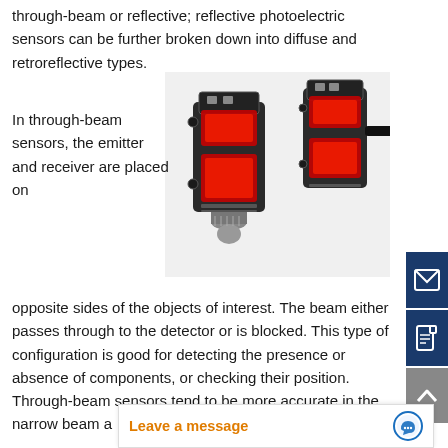through-beam or reflective; reflective photoelectric sensors can be further broken down into diffuse and retroreflective types.
[Figure (photo): Two small black rectangular photoelectric sensors (Omron brand) with red illuminated windows, one with a threaded connector at the bottom.]
In through-beam sensors, the emitter and receiver are placed on opposite sides of the objects of interest. The beam either passes through to the detector or is blocked. This type of configuration is good for detecting the presence or absence of components, or checking their position. Through-beam sensors tend to be more accurate in the narrow beam a